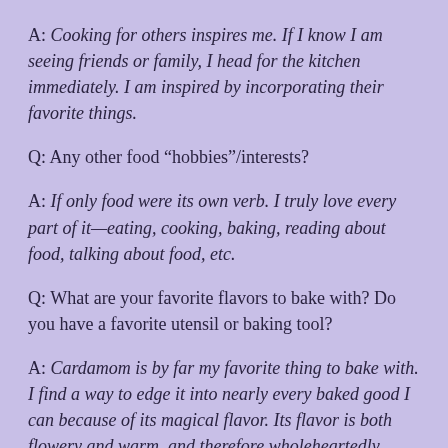A: Cooking for others inspires me. If I know I am seeing friends or family, I head for the kitchen immediately. I am inspired by incorporating their favorite things.
Q: Any other food “hobbies”/interests?
A: If only food were its own verb. I truly love every part of it—eating, cooking, baking, reading about food, talking about food, etc.
Q: What are your favorite flavors to bake with? Do you have a favorite utensil or baking tool?
A: Cardamom is by far my favorite thing to bake with. I find a way to edge it into nearly every baked good I can because of its magical flavor. Its flavor is both flowery and warm, and therefore wholeheartedly addictive. The bench